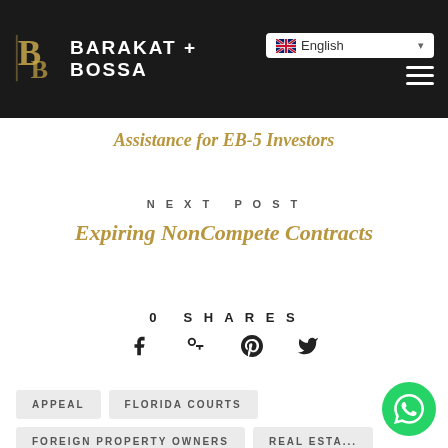BARAKAT + BOSSA
Assistance for EB-5 Investors
NEXT POST
Expiring NonCompete Contracts
0 SHARES
[Figure (infographic): Social share icons: Facebook, Google+, Pinterest, Twitter]
APPEAL
FLORIDA COURTS
FOREIGN PROPERTY OWNERS
REAL ESTA...